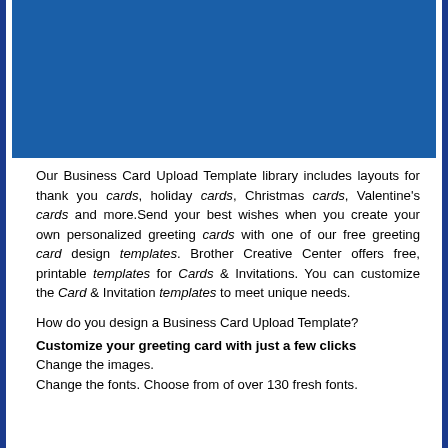[Figure (other): Blue rectangle banner at top of page]
Our Business Card Upload Template library includes layouts for thank you cards, holiday cards, Christmas cards, Valentine's cards and more.Send your best wishes when you create your own personalized greeting cards with one of our free greeting card design templates. Brother Creative Center offers free, printable templates for Cards & Invitations. You can customize the Card & Invitation templates to meet unique needs.
How do you design a Business Card Upload Template?
Customize your greeting card with just a few clicks
Change the images.
Change the fonts. Choose from of over 130 fresh fonts.